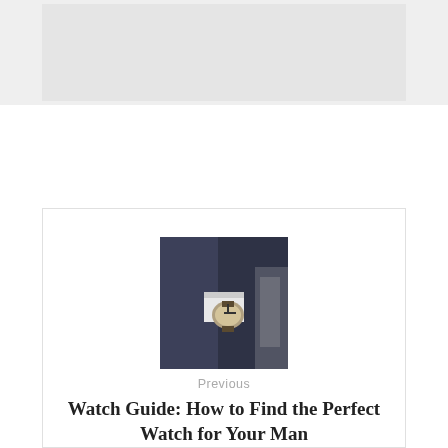[Figure (photo): Gray placeholder block at top of page representing a header image area]
[Figure (photo): Thumbnail photo of a man in a suit adjusting a watch on his wrist]
Previous
Watch Guide: How to Find the Perfect Watch for Your Man
[Figure (photo): Thumbnail photo of a baby sitting on a couch drinking from a bottle]
Next
Flying with A Baby Tips – Top Tips from